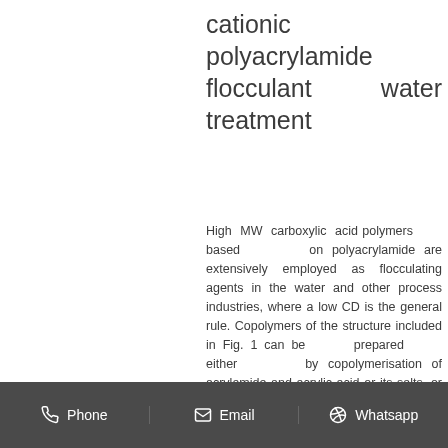cationic polyacrylamide flocculant water treatment
High MW carboxylic acid polymers based on polyacrylamide are extensively employed as flocculating agents in the water and other process industries, where a low CD is the general rule. Copolymers of the structure included in Fig. 1 can be prepared either by copolymerisation of acrylamide and acrylic acid or its salts, or by polymerisation of
[Figure (other): Get Quote button in cyan/teal rounded rectangle]
Phone   Email   Whatsapp